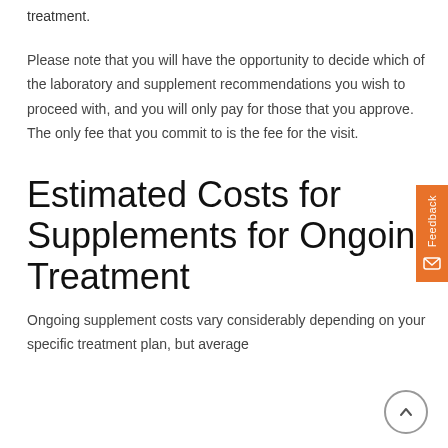treatment.
Please note that you will have the opportunity to decide which of the laboratory and supplement recommendations you wish to proceed with, and you will only pay for those that you approve. The only fee that you commit to is the fee for the visit.
Estimated Costs for Supplements for Ongoing Treatment
Ongoing supplement costs vary considerably depending on your specific treatment plan, but average